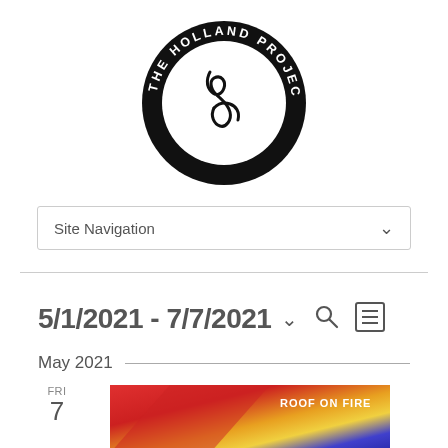[Figure (logo): The Holland Project circular logo — black circle with 'THE HOLLAND PROJECT' text around top arc and 'ART MUSIC CULTURE' along bottom arc, with stylized 'HP' monogram in center]
Site Navigation
5/1/2021 - 7/7/2021
May 2021
FRI 7
[Figure (photo): Event thumbnail image for 'ROOF ON FIRE' — colorful gradient image with red, yellow, blue diagonal bands, with white text 'ROOF ON FIRE' in upper right]